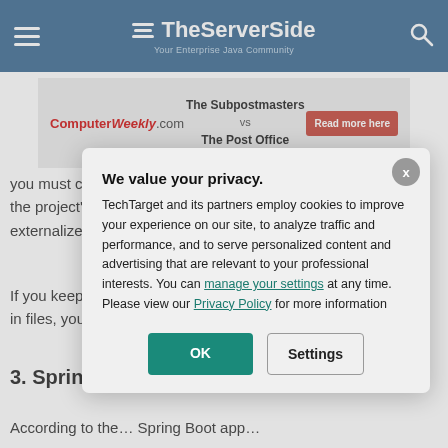TheServerSide — Your Enterprise Java Community
[Figure (screenshot): Advertisement banner for ComputerWeekly.com featuring 'The Subpostmasters vs The Post Office' article with a 'Read more here' button]
you must choose between Gradle or Maven as the project's build tool. Both of these tools externalize the management dependencies.
If you keep your … directory and list … dependencies in … files, your Spring … dependency ma…
3. Spring Boot configuration
According to the … Spring Boot app…
[Figure (screenshot): Privacy consent modal overlay: 'We value your privacy.' TechTarget and its partners employ cookies to improve your experience on our site, to analyze traffic and performance, and to serve personalized content and advertising that are relevant to your professional interests. You can manage your settings at any time. Please view our Privacy Policy for more information. Buttons: OK, Settings]